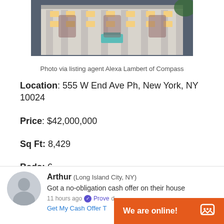[Figure (photo): Aerial/top-down photo of a large white ornate building (555 W End Ave) with lit windows at night]
Photo via listing agent Alexa Lambert of Compass
Location: 555 W End Ave Ph, New York, NY 10024
Price: $42,000,000
Sq Ft: 8,429
Beds: 6
Baths: 6.5
Arthur (Long Island City, NY) Got a no-obligation cash offer on their house 11 hours ago Proved Get My Cash Offer T
We are online!